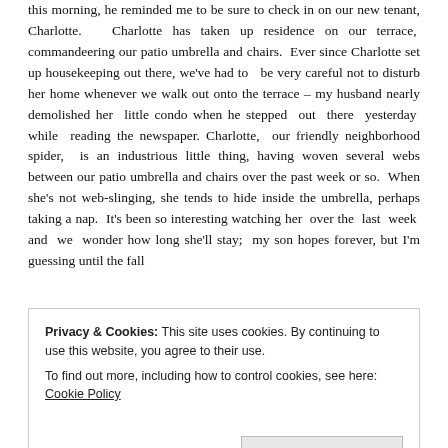this morning, he reminded me to be sure to check in on our new tenant, Charlotte. Charlotte has taken up residence on our terrace, commandeering our patio umbrella and chairs. Ever since Charlotte set up housekeeping out there, we've had to be very careful not to disturb her home whenever we walk out onto the terrace – my husband nearly demolished her little condo when he stepped out there yesterday while reading the newspaper. Charlotte, our friendly neighborhood spider, is an industrious little thing, having woven several webs between our patio umbrella and chairs over the past week or so. When she's not web-slinging, she tends to hide inside the umbrella, perhaps taking a nap. It's been so interesting watching her over the last week and we wonder how long she'll stay; my son hopes forever, but I'm guessing until the fall
Privacy & Cookies: This site uses cookies. By continuing to use this website, you agree to their use. To find out more, including how to control cookies, see here: Cookie Policy
Close and accept
much as we have.